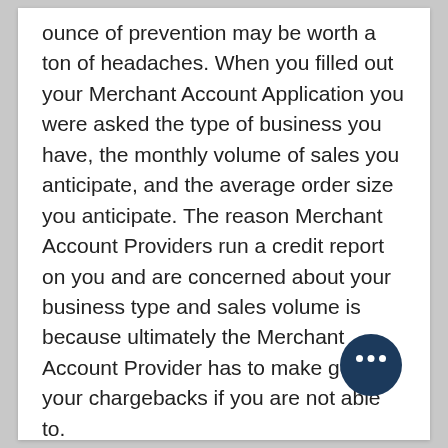ounce of prevention may be worth a ton of headaches. When you filled out your Merchant Account Application you were asked the type of business you have, the monthly volume of sales you anticipate, and the average order size you anticipate. The reason Merchant Account Providers run a credit report on you and are concerned about your business type and sales volume is because ultimately the Merchant Account Provider has to make good your chargebacks if you are not able to.
Should you declare bankruptcy, not ship your product, provide your service inadequately or even be running fraudulent credit card orders the Merchant Account Provider could really be hurt. Because of this, a “Loss Prevention” department will watch your processing activities and has a good